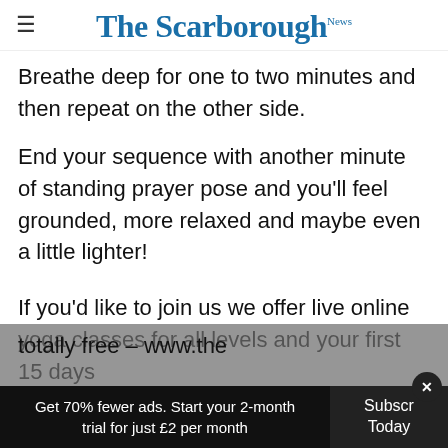The Scarborough News
Breathe deep for one to two minutes and then repeat on the other side.
End your sequence with another minute of standing prayer pose and you'll feel grounded, more relaxed and maybe even a little lighter!
If you'd like to join us we offer live online yoga classes for all levels and your first 15 days totally free – www.the
Get 70% fewer ads. Start your 2-month trial for just £2 per month | Subscribe Today